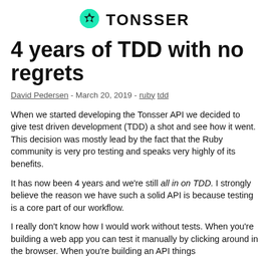[Figure (logo): Tonsser logo: green soccer ball icon followed by bold text TONSSER]
4 years of TDD with no regrets
David Pedersen - March 20, 2019 - ruby tdd
When we started developing the Tonsser API we decided to give test driven development (TDD) a shot and see how it went. This decision was mostly lead by the fact that the Ruby community is very pro testing and speaks very highly of its benefits.
It has now been 4 years and we're still all in on TDD. I strongly believe the reason we have such a solid API is because testing is a core part of our workflow.
I really don't know how I would work without tests. When you're building a web app you can test it manually by clicking around in the browser. When you're building an API things